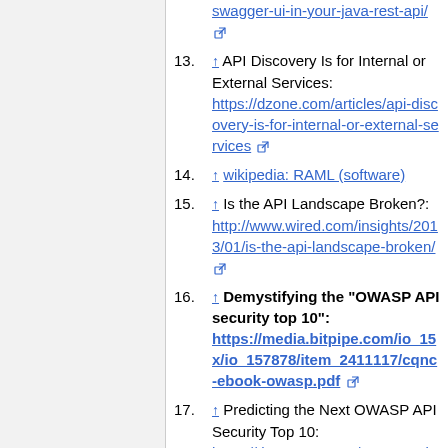swagger-ui-in-your-java-rest-api/ [external link]
13. ↑ API Discovery Is for Internal or External Services: https://dzone.com/articles/api-discovery-is-for-internal-or-external-services [external link]
14. ↑ wikipedia: RAML (software)
15. ↑ Is the API Landscape Broken?: http://www.wired.com/insights/2013/01/is-the-api-landscape-broken/ [external link]
16. ↑ Demystifying the "OWASP API security top 10": https://media.bitpipe.com/io_15x/io_157878/item_2411117/cqnc-ebook-owasp.pdf [external link]
17. ↑ Predicting the Next OWASP API Security Top 10: https://threatpost.com/owasp-api-...